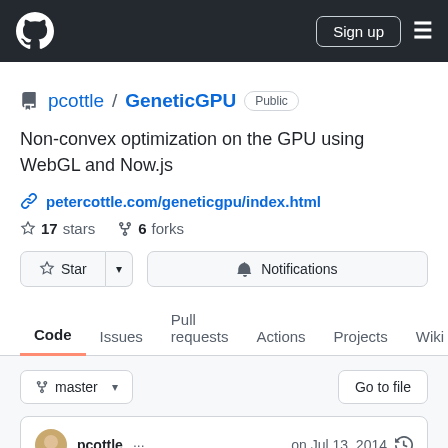GitHub navigation bar with Sign up button
pcottle / GeneticGPU Public
Non-convex optimization on the GPU using WebGL and Now.js
petercottle.com/geneticgpu/index.html
17 stars   6 forks
Star   Notifications
Code   Issues   Pull requests   Actions   Projects   Wiki
master
Go to file
pcottle ... on Jul 13, 2014